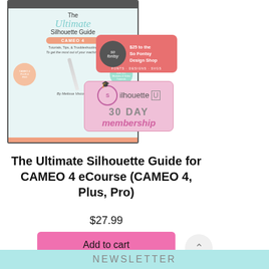[Figure (photo): Product image of 'The Ultimate Silhouette Guide CAMEO 4 eCourse' showing a book mockup with bonuses including a So Fontsy Design Shop $25 badge and a Silhouette U 30 Day Membership badge.]
The Ultimate Silhouette Guide for CAMEO 4 eCourse (CAMEO 4, Plus, Pro)
$27.99
Add to cart
NEWSLETTER